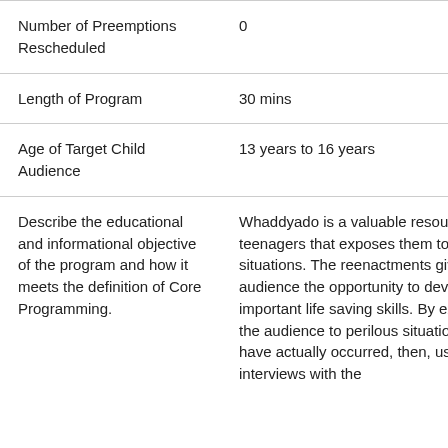| Number of Preemptions Rescheduled | 0 |
| Length of Program | 30 mins |
| Age of Target Child Audience | 13 years to 16 years |
| Describe the educational and informational objective of the program and how it meets the definition of Core Programming. | Whaddyado is a valuable resource for teenagers that exposes them to real life situations. The reenactments give the audience the opportunity to develop important life saving skills. By exposing the audience to perilous situations that have actually occurred, then, using interviews with the |